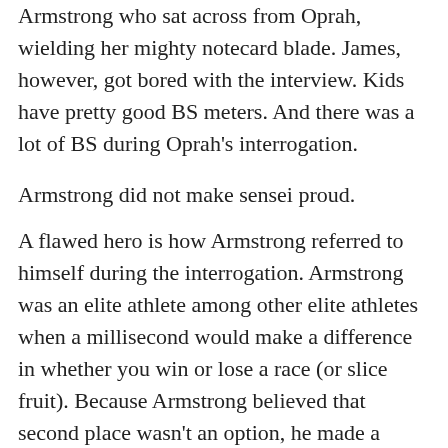Armstrong who sat across from Oprah, wielding her mighty notecard blade. James, however, got bored with the interview. Kids have pretty good BS meters. And there was a lot of BS during Oprah's interrogation.
Armstrong did not make sensei proud.
A flawed hero is how Armstrong referred to himself during the interrogation. Armstrong was an elite athlete among other elite athletes when a millisecond would make a difference in whether you win or lose a race (or slice fruit). Because Armstrong believed that second place wasn't an option, he made a choice. He knew other athletes were taking drugs to boost their performance. So he took drugs, too. He figured that he might be able to beat them at the game if he was on a level playing field. Why should he try